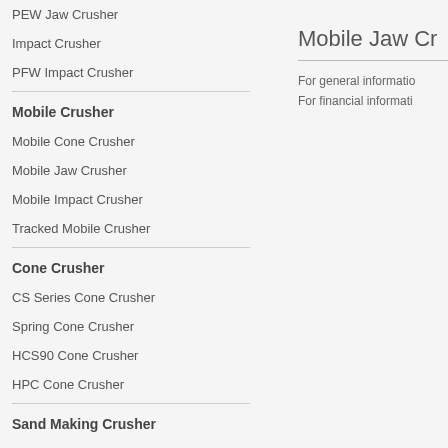PEW Jaw Crusher
Impact Crusher
PFW Impact Crusher
Mobile Crusher
Mobile Cone Crusher
Mobile Jaw Crusher
Mobile Impact Crusher
Tracked Mobile Crusher
Cone Crusher
CS Series Cone Crusher
Spring Cone Crusher
HCS90 Cone Crusher
HPC Cone Crusher
Sand Making Crusher
Mobile Jaw Cr…
For general informatio…
For financial informati…